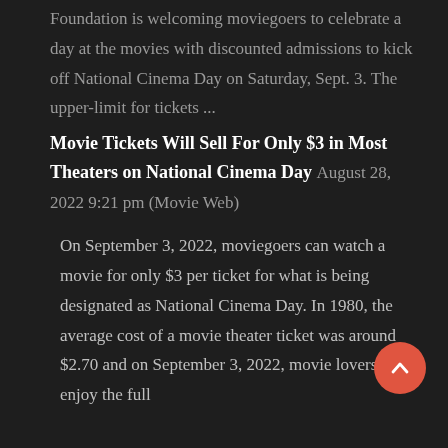Foundation is welcoming moviegoers to celebrate a day at the movies with discounted admissions to kick off National Cinema Day on Saturday, Sept. 3. The upper-limit for tickets ...
Movie Tickets Will Sell For Only $3 in Most Theaters on National Cinema Day August 28, 2022 9:21 pm (Movie Web)
On September 3, 2022, moviegoers can watch a movie for only $3 per ticket for what is being designated as National Cinema Day. In 1980, the average cost of a movie theater ticket was around $2.70 and on September 3, 2022, movie lovers can enjoy the full